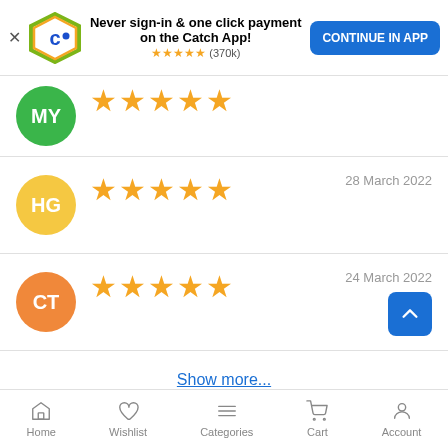[Figure (screenshot): Catch app promotional banner with logo, text 'Never sign-in & one click payment on the Catch App!', star rating (370k), and 'CONTINUE IN APP' button]
[Figure (screenshot): Review row with green avatar 'MY' and 5 gold stars (partially visible)]
[Figure (screenshot): Review row with yellow avatar 'HG', 5 gold stars, dated 28 March 2022]
[Figure (screenshot): Review row with orange avatar 'CT', 5 gold stars, dated 24 March 2022, with scroll-up button]
Show more...
Home | Wishlist | Categories | Cart | Account